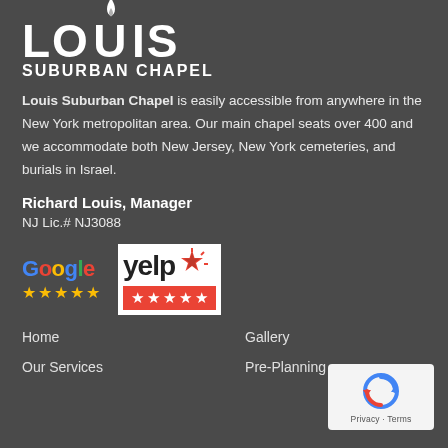[Figure (logo): Louis Suburban Chapel logo with flame icon above letter O, white text on dark background]
Louis Suburban Chapel is easily accessible from anywhere in the New York metropolitan area. Our main chapel seats over 400 and we accommodate both New Jersey, New York cemeteries, and burials in Israel.
Richard Louis, Manager
NJ Lic.# NJ3088
[Figure (logo): Google logo with 5 yellow stars below, and Yelp logo with 5 red stars on red background]
Home
Gallery
Our Services
Pre-Planning
[Figure (logo): Google reCAPTCHA badge with Privacy and Terms text]